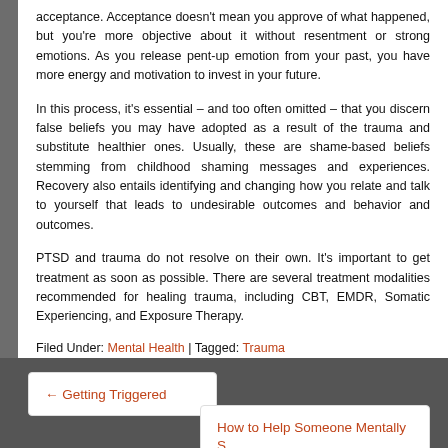acceptance. Acceptance doesn't mean you approve of what happened, but you're more objective about it without resentment or strong emotions. As you release pent-up emotion from your past, you have more energy and motivation to invest in your future.
In this process, it's essential – and too often omitted – that you discern false beliefs you may have adopted as a result of the trauma and substitute healthier ones. Usually, these are shame-based beliefs stemming from childhood shaming messages and experiences. Recovery also entails identifying and changing how you relate and talk to yourself that leads to undesirable outcomes and behavior and outcomes.
PTSD and trauma do not resolve on their own. It's important to get treatment as soon as possible. There are several treatment modalities recommended for healing trauma, including CBT, EMDR, Somatic Experiencing, and Exposure Therapy.
Filed Under: Mental Health | Tagged: Trauma
← Getting Triggered
How to Help Someone Mentally S...